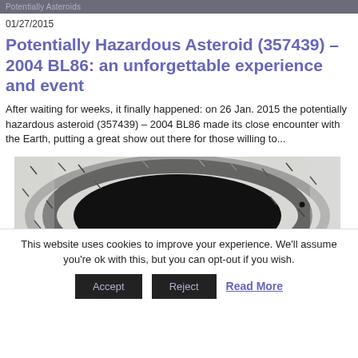Potentially Asteroids
01/27/2015
Potentially Hazardous Asteroid (357439) – 2004 BL86: an unforgettable experience and event
After waiting for weeks, it finally happened: on 26 Jan. 2015 the potentially hazardous asteroid (357439) – 2004 BL86 made its close encounter with the Earth, putting a great show out there for those willing to...
[Figure (photo): Astronomical photograph showing asteroid streaks against a star field, with a dark band/shadow across the middle of the image]
This website uses cookies to improve your experience. We'll assume you're ok with this, but you can opt-out if you wish.